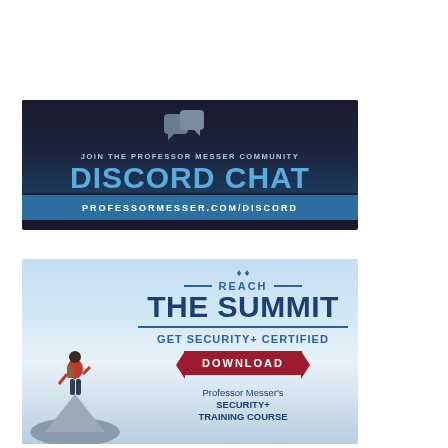[Figure (illustration): Discord Chat advertisement banner. Dark navy background with two chat bubble icons, text 'JOIN THE PROFESSOR MESSER COMMUNITY', large 'DISCORD CHAT' title in blue, and blue bottom bar with URL 'PROFESSORMESSER.COM/DISCORD']
[Figure (illustration): Security+ certification advertisement. Background shows mountain scene with person in red jacket standing on peak. Text reads 'REACH THE SUMMIT', 'GET SECURITY+ CERTIFIED', red DOWNLOAD button, 'Professor Messer's SECURITY+ TRAINING COURSE']